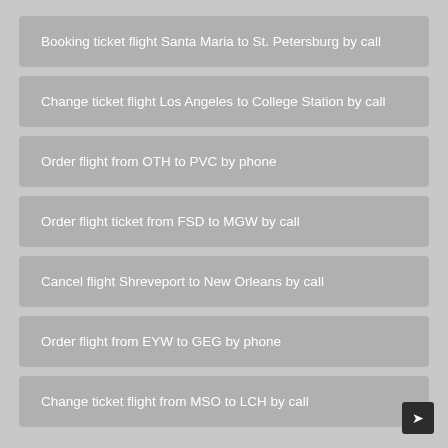Booking ticket flight Santa Maria to St. Petersburg by call
Change ticket flight Los Angeles to College Station by call
Order flight from OTH to PVC by phone
Order flight ticket from FSD to MGW by call
Cancel flight Shreveport to New Orleans by call
Order flight from EYW to GEG by phone
Change ticket flight from MSO to LCH by call